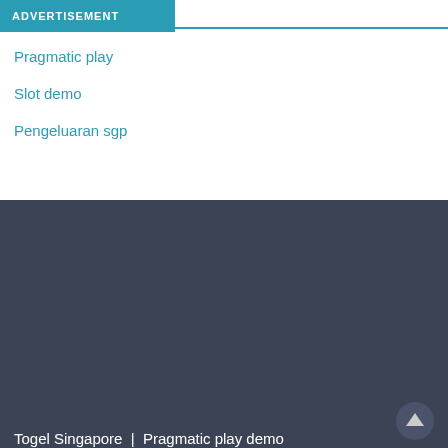ADVERTISEMENT
Pragmatic play
Slot demo
Pengeluaran sgp
Togel Singapore | Pragmatic play demo
Copyright © 2022 Latest News Collection Popular News. All rights reserved. Theme: ColorMag by ThemeGrill. Powered by WordPress.